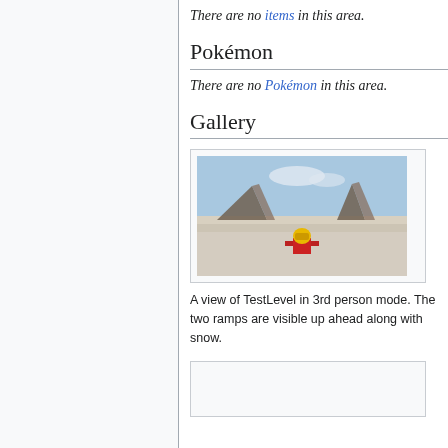There are no items in this area.
Pokémon
There are no Pokémon in this area.
Gallery
[Figure (screenshot): A screenshot of TestLevel in 3rd person mode showing a pixel art character from behind on a snowy landscape with two ramps visible ahead and a blue sky.]
A view of TestLevel in 3rd person mode. The two ramps are visible up ahead along with snow.